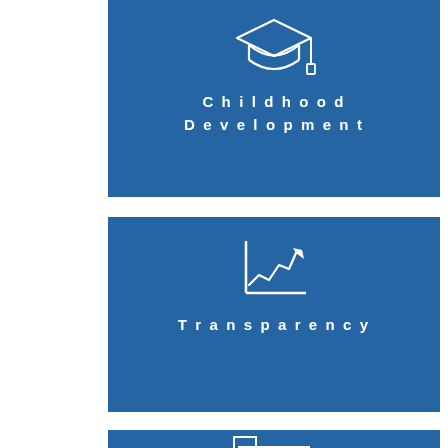[Figure (infographic): Blue card with graduation cap icon and text 'Childhood Development']
[Figure (infographic): Blue card with line chart/trend arrow icon and text 'Transparency']
[Figure (infographic): Blue card with building/office icon (partially visible)]